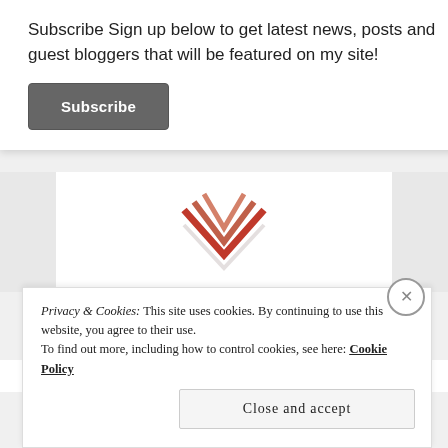Subscribe Sign up below to get latest news, posts and guest bloggers that will be featured on my site!
Subscribe
[Figure (logo): Decorative chevron/W logo made of overlapping orange/red V shapes]
INSTAGRAM
Privacy & Cookies: This site uses cookies. By continuing to use this website, you agree to their use. To find out more, including how to control cookies, see here: Cookie Policy
Close and accept